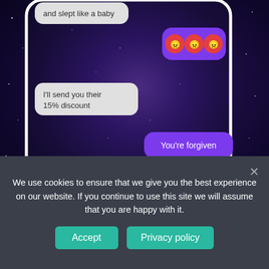[Figure (screenshot): A smartphone screenshot showing a text message conversation. A left-aligned grey bubble shows 'and slept like a baby'. A right-aligned purple bubble shows three angry face emojis. A left-aligned grey bubble says 'I'll send you their 15% discount'. A right-aligned purple bubble says 'You're forgiven'. Below is a purple-bordered button area with 'ORDER NOW' text.]
We use cookies to ensure that we give you the best experience on our website. If you continue to use this site we will assume that you are happy with it.
Accept
Privacy policy